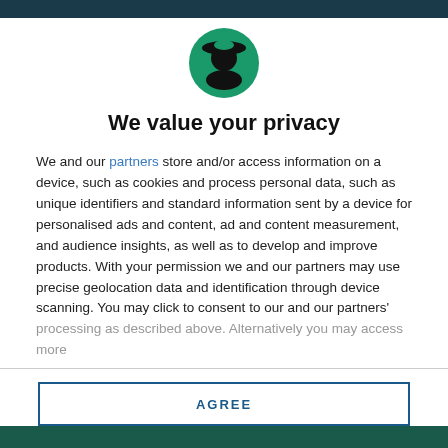[Figure (logo): Circular green logo with black silhouette of a person wearing a wide-brimmed hat, facing right]
We value your privacy
We and our partners store and/or access information on a device, such as cookies and process personal data, such as unique identifiers and standard information sent by a device for personalised ads and content, ad and content measurement, and audience insights, as well as to develop and improve products. With your permission we and our partners may use precise geolocation data and identification through device scanning. You may click to consent to our and our partners' processing as described above. Alternatively you may access more
AGREE
MORE OPTIONS